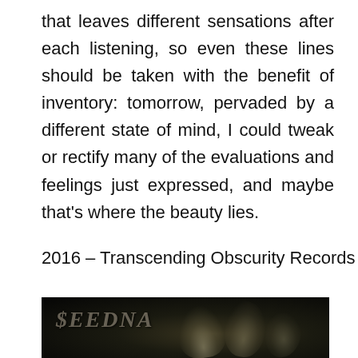that leaves different sensations after each listening, so even these lines should be taken with the benefit of inventory: tomorrow, pervaded by a different state of mind, I could tweak or rectify many of the evaluations and feelings just expressed, and maybe that's where the beauty lies.
2016 – Transcending Obscurity Records
[Figure (photo): Dark image with the band name 'SEEDNA' in metal-style gothic lettering against a black background with white smoke or fog wisps]